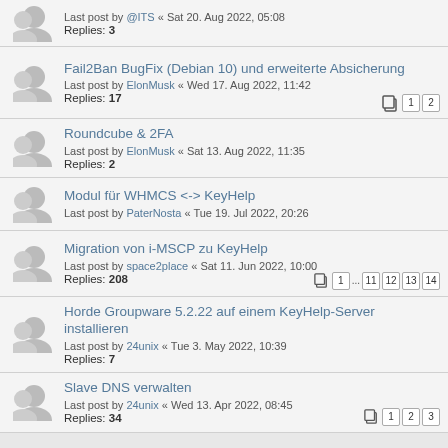Last post by @ITS « Sat 20. Aug 2022, 05:08
Replies: 3
Fail2Ban BugFix (Debian 10) und erweiterte Absicherung
Last post by ElonMusk « Wed 17. Aug 2022, 11:42
Replies: 17
Roundcube & 2FA
Last post by ElonMusk « Sat 13. Aug 2022, 11:35
Replies: 2
Modul für WHMCS <-> KeyHelp
Last post by PaterNosta « Tue 19. Jul 2022, 20:26
Migration von i-MSCP zu KeyHelp
Last post by space2place « Sat 11. Jun 2022, 10:00
Replies: 208
Horde Groupware 5.2.22 auf einem KeyHelp-Server installieren
Last post by 24unix « Tue 3. May 2022, 10:39
Replies: 7
Slave DNS verwalten
Last post by 24unix « Wed 13. Apr 2022, 08:45
Replies: 34